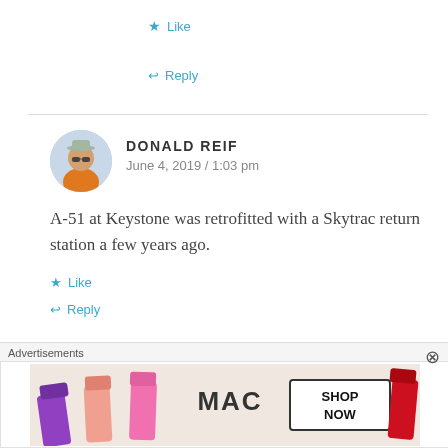★ Like
↩ Reply
DONALD REIF
June 4, 2019 / 1:03 pm
[Figure (photo): Avatar photo of Donald Reif, a man wearing sunglasses and an orange shirt outdoors]
A-51 at Keystone was retrofitted with a Skytrac return station a few years ago.
★ Like
↩ Reply
MARCUS SUNDSTRÖM
Advertisements
[Figure (photo): MAC cosmetics advertisement banner showing lipsticks and SHOP NOW text]